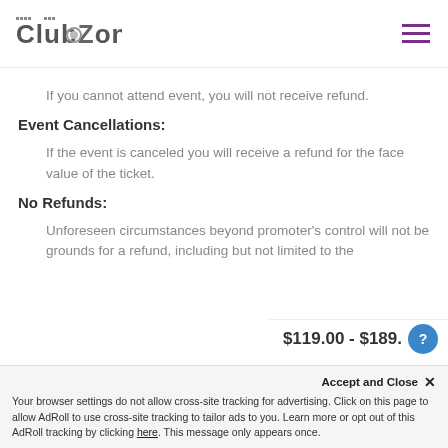[Figure (logo): ClubZone logo in dark gray pixel/brick style lettering]
If you cannot attend event, you will not receive refund.
Event Cancellations:
If the event is canceled you will receive a refund for the face value of the ticket.
No Refunds:
Unforeseen circumstances beyond promoter’s control will not be grounds for a refund, including but not limited to the
$119.00 - $189.
Accept and Close ×
Your browser settings do not allow cross-site tracking for advertising. Click on this page to allow AdRoll to use cross-site tracking to tailor ads to you. Learn more or opt out of this AdRoll tracking by clicking here. This message only appears once.